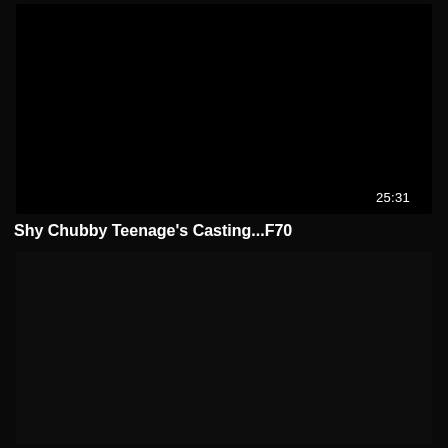[Figure (screenshot): Black video thumbnail with duration timestamp 25:31 in bottom right corner]
Shy Chubby Teenage&#039;s Casting...F70
[Figure (screenshot): Black video thumbnail area below title]